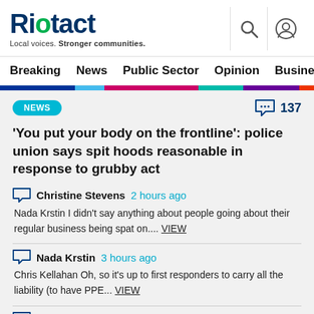Riotact – Local voices. Stronger communities.
Breaking  News  Public Sector  Opinion  Business  R
NEWS  137
'You put your body on the frontline': police union says spit hoods reasonable in response to grubby act
Christine Stevens  2 hours ago
Nada Krstin I didn't say anything about people going about their regular business being spat on.... VIEW
Nada Krstin  3 hours ago
Chris Kellahan Oh, so it's up to first responders to carry all the liability (to have PPE... VIEW
Nada Krstin  3 hours ago
Poter de Vries lol was thinking the same! Christine